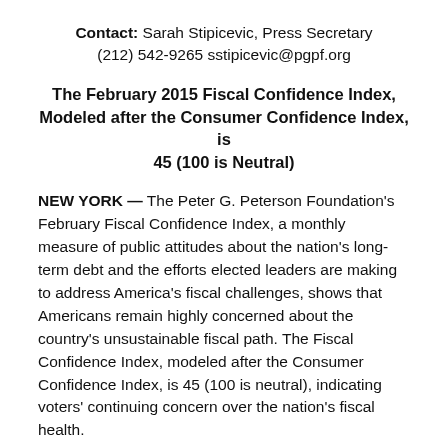Contact: Sarah Stipicevic, Press Secretary (212) 542-9265 sstipicevic@pgpf.org
The February 2015 Fiscal Confidence Index, Modeled after the Consumer Confidence Index, is 45 (100 is Neutral)
NEW YORK — The Peter G. Peterson Foundation's February Fiscal Confidence Index, a monthly measure of public attitudes about the nation's long-term debt and the efforts elected leaders are making to address America's fiscal challenges, shows that Americans remain highly concerned about the country's unsustainable fiscal path. The Fiscal Confidence Index, modeled after the Consumer Confidence Index, is 45 (100 is neutral), indicating voters' continuing concern over the nation's fiscal health.
As the President and Congress begin the annual budgetary process, Americans overwhelmingly believe